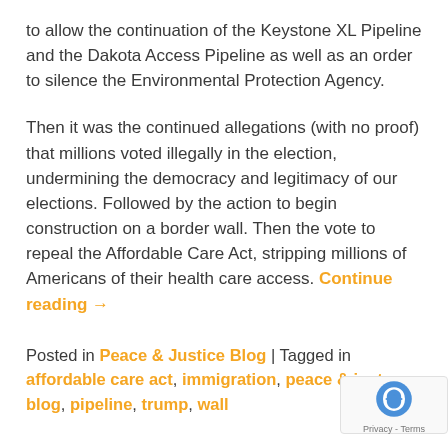to allow the continuation of the Keystone XL Pipeline and the Dakota Access Pipeline as well as an order to silence the Environmental Protection Agency.
Then it was the continued allegations (with no proof) that millions voted illegally in the election, undermining the democracy and legitimacy of our elections. Followed by the action to begin construction on a border wall. Then the vote to repeal the Affordable Care Act, stripping millions of Americans of their health care access. Continue reading →
Posted in Peace & Justice Blog | Tagged in affordable care act, immigration, peace & just blog, pipeline, trump, wall